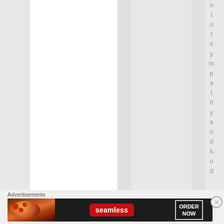[Figure (screenshot): Web page screenshot showing vertical column layout with alternating white and gray columns. One column contains vertically-oriented text reading 'of sympathy and kudu'. Below is an advertisement section with 'Advertisements' label and a Seamless food delivery banner ad with 'ORDER NOW' call to action and a close button.]
Advertisements
[Figure (photo): Seamless food delivery advertisement banner showing pizza image on left, Seamless logo in red badge in center, and 'ORDER NOW' text in white outlined box on right, on dark background.]